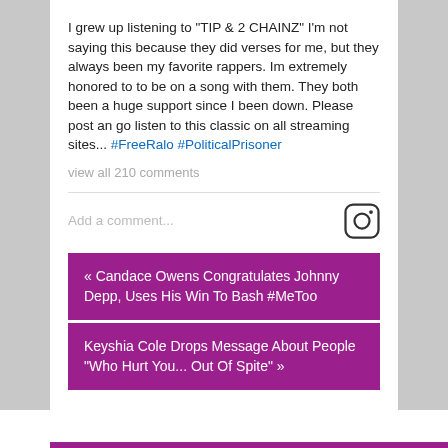I grew up listening to "TIP & 2 CHAINZ" I'm not saying this because they did verses for me, but they always been my favorite rappers. Im extremely honored to to be on a song with them. They both been a huge support since I been down. Please post an go listen to this classic on all streaming sites... #FreeRalo #PoliticalPrisoner
view all 210 comments
Add a comment...
« Candace Owens Congratulates Johnny Depp, Uses His Win To Bash #MeToo
Keyshia Cole Drops Message About People "Who Hurt You... Out Of Spite" »